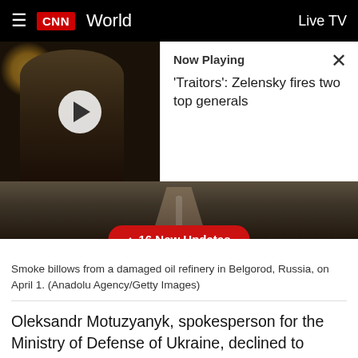CNN World  Live TV
[Figure (screenshot): CNN news app screenshot showing a video thumbnail of Zelensky with a play button, and a Now Playing panel reading: 'Traitors': Zelensky fires two top generals. A close X button is in the top right of the panel.]
[Figure (photo): Road and landscape photo with a red button overlay reading '↑ 16 New Updates']
Smoke billows from a damaged oil refinery in Belgorod, Russia, on April 1. (Anadolu Agency/Getty Images)
Oleksandr Motuzyanyk, spokesperson for the Ministry of Defense of Ukraine, declined to comment on Russian allegations of a strike by Ukrainian helicopters on a fuel base in the southern Russian city of Belgorod.
"I would like to emphasize that Ukraine is performing a defensive operation against Russian aggression on the